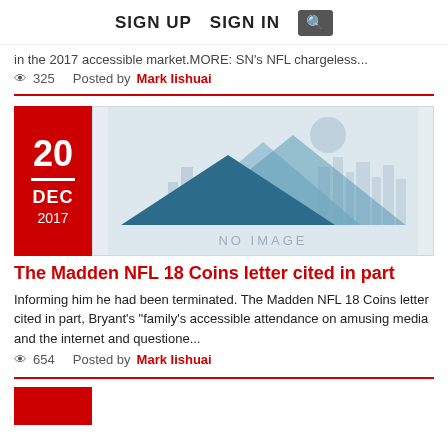SIGN UP  SIGN IN  🔍
in the 2017 accessible market.MORE: SN's NFL chargeless...
👁 325   Posted by Mark Iishuai
[Figure (illustration): No image placeholder with mountain silhouettes and cityscape]
The Madden NFL 18 Coins letter cited in part
Informing him he had been terminated. The Madden NFL 18 Coins letter cited in part, Bryant's "family's accessible attendance on amusing media and the internet and questione...
👁 654   Posted by Mark Iishuai